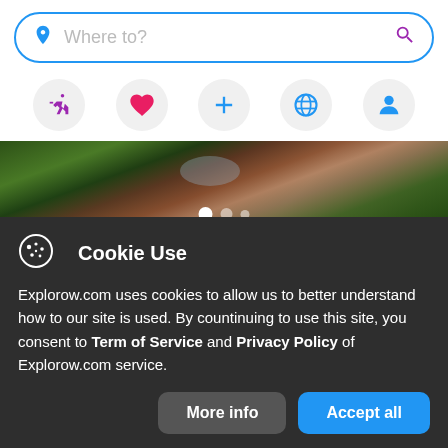[Figure (screenshot): Search bar with location pin icon and search magnifier icon, placeholder text 'Where to?']
[Figure (infographic): Row of 5 circular icon buttons: running person (purple), heart (pink), plus (blue), globe (blue), person/profile (blue)]
[Figure (photo): Hero image showing aerial or landscape view of garden/groves with water and foliage, with carousel dots]
thegardenofthegroves.com
Garden of the Groves
Cookie Use
Explorow.com uses cookies to allow us to better understand how to our site is used. By countinuing to use this site, you consent to Term of Service and Privacy Policy of Explorow.com service.